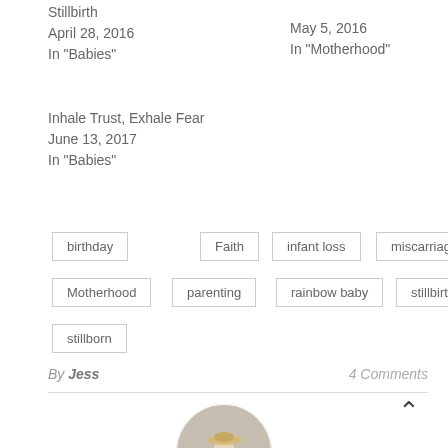Stillbirth
April 28, 2016
In "Babies"
May 5, 2016
In "Motherhood"
Inhale Trust, Exhale Fear
June 13, 2017
In "Babies"
birthday
Faith
infant loss
miscarriage
Motherhood
parenting
rainbow baby
stillbirth
stillborn
By Jess
4 Comments
[Figure (photo): Circular profile photo of a woman standing in a field wearing a hat and yellow skirt]